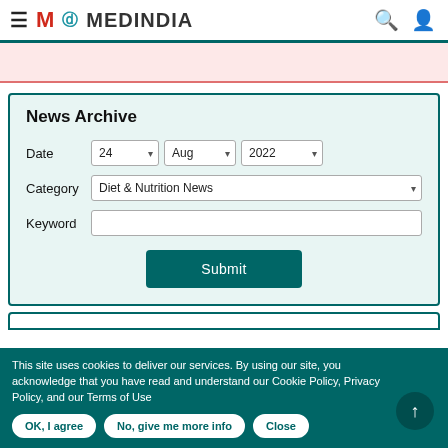MedinIndia - News Archive
[Figure (screenshot): Ad banner area with light pink background]
News Archive
Date: 24, Aug, 2022
Category: Diet & Nutrition News
Keyword: (empty)
Submit
This site uses cookies to deliver our services. By using our site, you acknowledge that you have read and understand our Cookie Policy, Privacy Policy, and our Terms of Use
OK, I agree | No, give me more info | Close